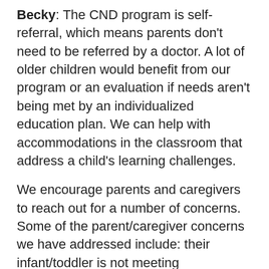Becky: The CND program is self-referral, which means parents don't need to be referred by a doctor. A lot of older children would benefit from our program or an evaluation if needs aren't being met by an individualized education plan. We can help with accommodations in the classroom that address a child's learning challenges.
We encourage parents and caregivers to reach out for a number of concerns. Some of the parent/caregiver concerns we have addressed include: their infant/toddler is not meeting developmental milestones, their child has speech delays or articulation issues, their child is struggling in school, their grades are lower than they should be, attention issues are happening, it takes a long time to do homework or the child avoids homework, poor handwriting skills, difficulty with math and reading, poor